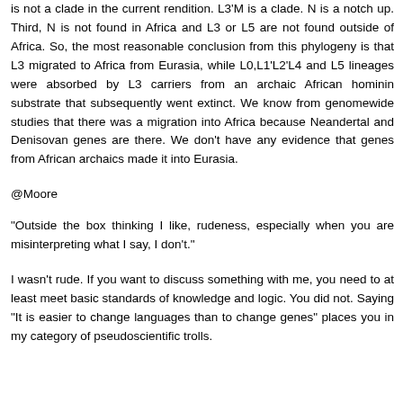is not a clade in the current rendition. L3'M is a clade. N is a notch up. Third, N is not found in Africa and L3 or L5 are not found outside of Africa. So, the most reasonable conclusion from this phylogeny is that L3 migrated to Africa from Eurasia, while L0,L1'L2'L4 and L5 lineages were absorbed by L3 carriers from an archaic African hominin substrate that subsequently went extinct. We know from genomewide studies that there was a migration into Africa because Neandertal and Denisovan genes are there. We don't have any evidence that genes from African archaics made it into Eurasia.
@Moore
"Outside the box thinking I like, rudeness, especially when you are misinterpreting what I say, I don't."
I wasn't rude. If you want to discuss something with me, you need to at least meet basic standards of knowledge and logic. You did not. Saying "It is easier to change languages than to change genes" places you in my category of pseudoscientific trolls.